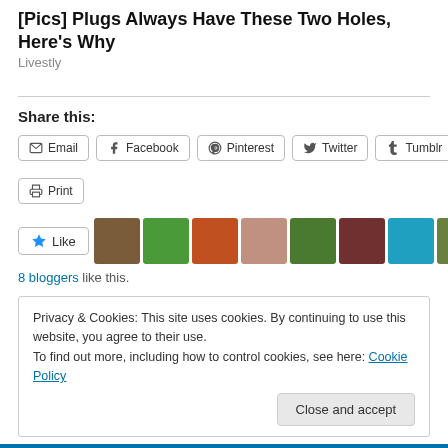[Pics] Plugs Always Have These Two Holes, Here's Why
Livestly
Share this:
[Figure (screenshot): Social sharing buttons: Email, Facebook, Pinterest, Twitter, Tumblr, Print]
[Figure (screenshot): Like button and 8 blogger avatar thumbnails]
8 bloggers like this.
Privacy & Cookies: This site uses cookies. By continuing to use this website, you agree to their use.
To find out more, including how to control cookies, see here: Cookie Policy